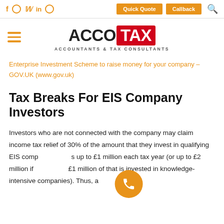f  ○  𝕎  in  ◎   Quick Quote   Callback   🔍
[Figure (logo): AccoTax logo with hamburger menu — ACCO in black bold, TAX in white on red background, subtitle: ACCOUNTANTS & TAX CONSULTANTS]
Enterprise Investment Scheme to raise money for your company – GOV.UK (www.gov.uk)
Tax Breaks For EIS Company Investors
Investors who are not connected with the company may claim income tax relief of 30% of the amount that they invest in qualifying EIS companies up to £1 million each tax year (or up to £2 million if £1 million of that is invested in knowledge-intensive companies). Thus, a